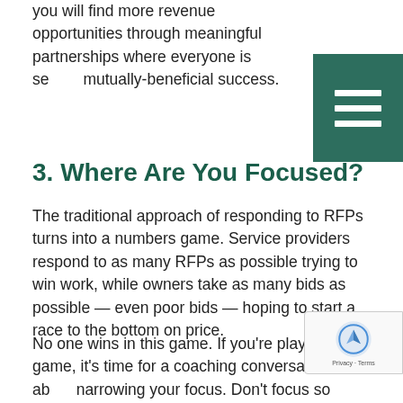Once you start working differently with these clients, you will find more revenue opportunities through meaningful partnerships where everyone is seeing mutually-beneficial success.
3. Where Are You Focused?
The traditional approach of responding to RFPs turns into a numbers game. Service providers respond to as many RFPs as possible trying to win work, while owners take as many bids as possible — even poor bids — hoping to start a race to the bottom on price.
No one wins in this game. If you're playing this game, it's time for a coaching conversation about narrowing your focus. Don't focus so broadly that you lose focus on the right activities in the process. De-prioritize the activities that will...